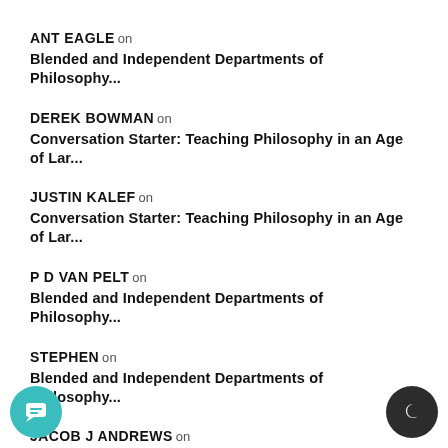ANT EAGLE on
Blended and Independent Departments of Philosophy...
DEREK BOWMAN on
Conversation Starter: Teaching Philosophy in an Age of Lar...
JUSTIN KALEF on
Conversation Starter: Teaching Philosophy in an Age of Lar...
P D VAN PELT on
Blended and Independent Departments of Philosophy...
STEPHEN on
Blended and Independent Departments of Philosophy...
JACOB J ANDREWS on
Blended and Independent Departments of Philosophy...